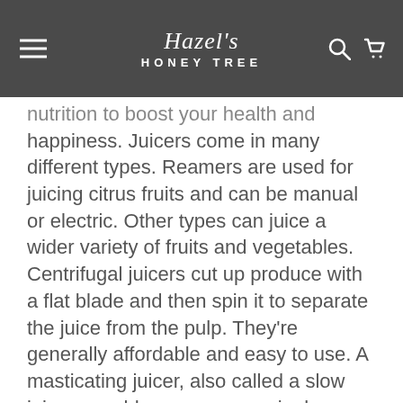Hazel's HONEY TREE
nutrition to boost your health and happiness. Juicers come in many different types. Reamers are used for juicing citrus fruits and can be manual or electric. Other types can juice a wider variety of fruits and vegetables. Centrifugal juicers cut up produce with a flat blade and then spin it to separate the juice from the pulp. They're generally affordable and easy to use. A masticating juicer, also called a slow juicer or cold press, uses a single auger to crush produce into smaller sections and then squeezes out the juice along a static screen while expelling the pulp. These are